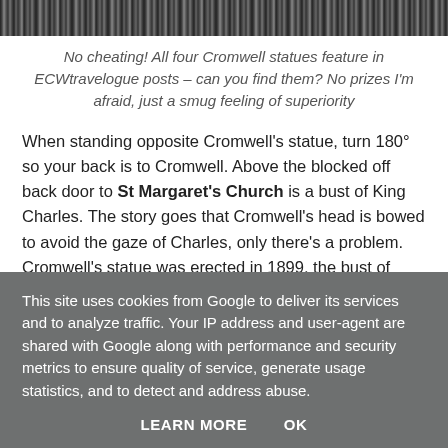[Figure (photo): Cropped image showing a striped pattern, likely tops of fence/railings in black and white/grey tones.]
No cheating! All four Cromwell statues feature in ECWtravelogue posts – can you find them? No prizes I'm afraid, just a smug feeling of superiority
When standing opposite Cromwell's statue, turn 180° so your back is to Cromwell. Above the blocked off back door to St Margaret's Church is a bust of King Charles. The story goes that Cromwell's head is bowed to avoid the gaze of Charles, only there's a problem. Cromwell's statue was erected in 1899, the bust of Charles was only added in 1956 by the Society of King Charles the Martyr.
This site uses cookies from Google to deliver its services and to analyze traffic. Your IP address and user-agent are shared with Google along with performance and security metrics to ensure quality of service, generate usage statistics, and to detect and address abuse.
LEARN MORE    OK